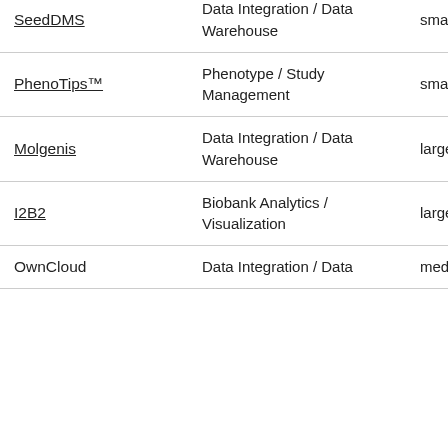| Name | Category | Size1 | Size2 | Size3 |
| --- | --- | --- | --- | --- |
| SeedDMS | Data Integration / Data Warehouse | small | medium | e |
| PhenoTips™ | Phenotype / Study Management | small | medium | m |
| Molgenis | Data Integration / Data Warehouse | large | small | m |
| I2B2 | Biobank Analytics / Visualization | large | medium | c |
| OwnCloud | Data Integration / Data... | medium | x-large | m |